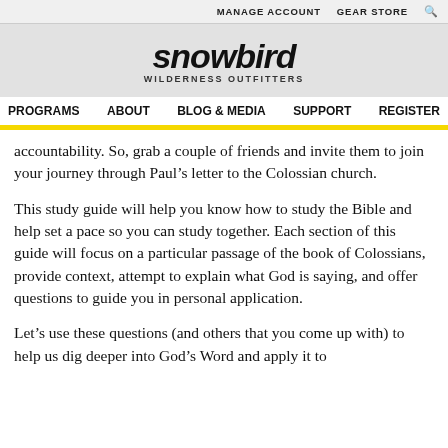MANAGE ACCOUNT   GEAR STORE
[Figure (logo): Snowbird Wilderness Outfitters logo with stylized text and 'WILDERNESS OUTFITTERS' subtitle]
PROGRAMS   ABOUT   BLOG & MEDIA   SUPPORT   REGISTER
accountability. So, grab a couple of friends and invite them to join your journey through Paul’s letter to the Colossian church.
This study guide will help you know how to study the Bible and help set a pace so you can study together. Each section of this guide will focus on a particular passage of the book of Colossians, provide context, attempt to explain what God is saying, and offer questions to guide you in personal application.
Let’s use these questions (and others that you come up with) to help us dig deeper into God’s Word and apply it to